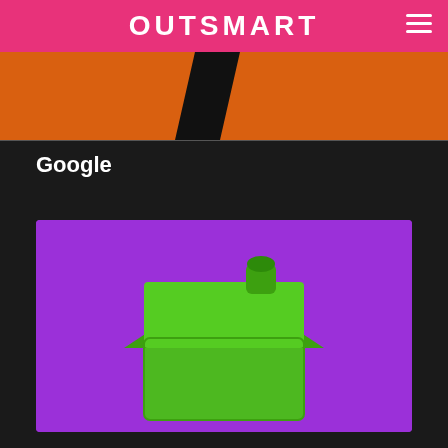OUTSMART
[Figure (photo): Orange banner image with a black diagonal slash/parallelogram shape in the center]
Google
[Figure (photo): A green Monopoly-style plastic house piece on a vivid purple background]